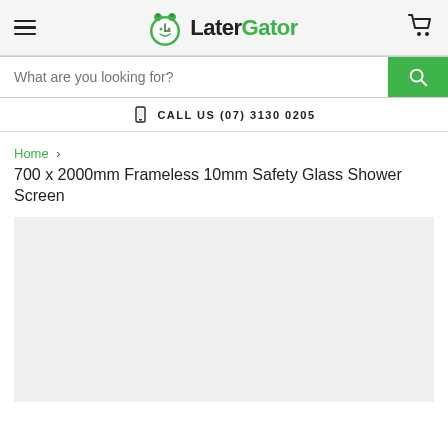LaterGator
What are you looking for?
CALL US (07) 3130 0205
Home > 700 x 2000mm Frameless 10mm Safety Glass Shower Screen
700 x 2000mm Frameless 10mm Safety Glass Shower Screen
[Figure (photo): Product image placeholder — light grey background, no product visible yet]